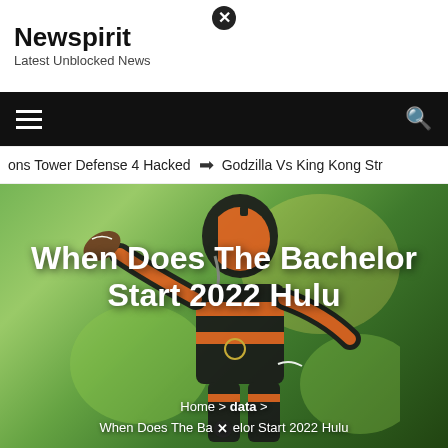Newspirit
Latest Unblocked News
[Figure (screenshot): Black navigation bar with hamburger menu icon on left and search icon on right]
oons Tower Defense 4 Hacked  ➔  Godzilla Vs King Kong Str
[Figure (photo): NFL quarterback in Cincinnati Bengals orange and black uniform throwing a football, overlaid on green bokeh background]
When Does The Bachelor Start 2022 Hulu
Home > data > When Does The Bachelor Start 2022 Hulu